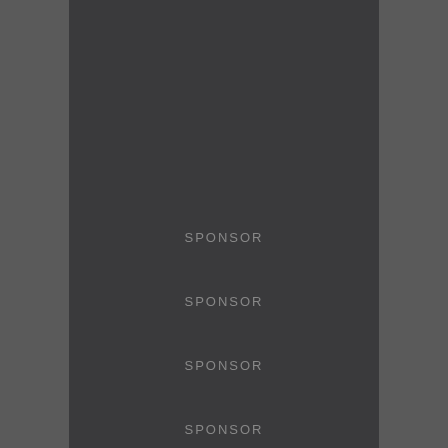[Figure (other): Dark gray page background with blurred landscape photo visible on left and right sides]
SPONSOR
SPONSOR
SPONSOR
SPONSOR